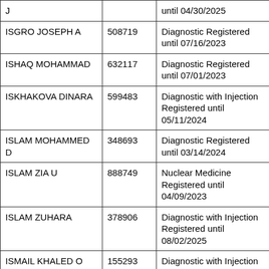| Name | ID | Status |
| --- | --- | --- |
| J |  | until 04/30/2025 |
| ISGRO JOSEPH A | 508719 | Diagnostic Registered until 07/16/2023 |
| ISHAQ MOHAMMAD | 632117 | Diagnostic Registered until 07/01/2023 |
| ISKHAKOVA DINARA | 599483 | Diagnostic with Injection Registered until 05/11/2024 |
| ISLAM MOHAMMED D | 348693 | Diagnostic Registered until 03/14/2024 |
| ISLAM ZIA U | 888749 | Nuclear Medicine Registered until 04/09/2023 |
| ISLAM ZUHARA | 378906 | Diagnostic with Injection Registered until 08/02/2025 |
| ISMAIL KHALED O | 155293 | Diagnostic with Injection Registered until 03/06/2025 |